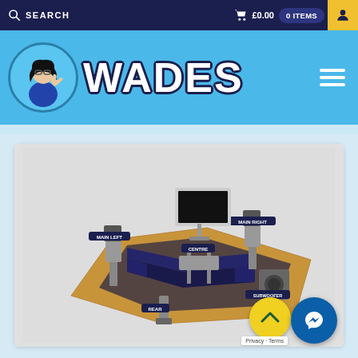SEARCH   £0.00   0 ITEMS
[Figure (logo): Wades logo with cartoon character giving thumbs up, blue circular badge, and WADES text in white with dark outline on blue banner background]
[Figure (illustration): 3D rendered home cinema / living room setup showing a couch, TV mounted on stand, speakers labeled MAIN LEFT, MAIN RIGHT, CENTRE, SUBWOOFER, and REAR with wooden floor platform]
Privacy · Terms